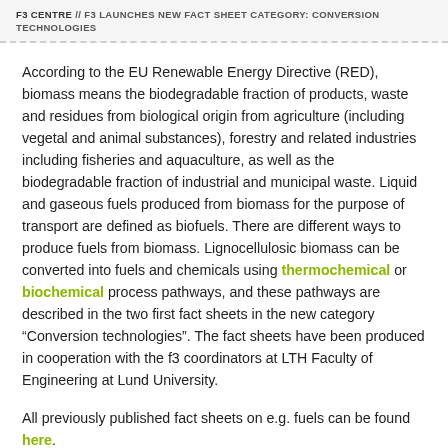F3 CENTRE // F3 LAUNCHES NEW FACT SHEET CATEGORY: CONVERSION TECHNOLOGIES
According to the EU Renewable Energy Directive (RED), biomass means the biodegradable fraction of products, waste and residues from biological origin from agriculture (including vegetal and animal substances), forestry and related industries including fisheries and aquaculture, as well as the biodegradable fraction of industrial and municipal waste. Liquid and gaseous fuels produced from biomass for the purpose of transport are defined as biofuels. There are different ways to produce fuels from biomass. Lignocellulosic biomass can be converted into fuels and chemicals using thermochemical or biochemical process pathways, and these pathways are described in the two first fact sheets in the new category “Conversion technologies”. The fact sheets have been produced in cooperation with the f3 coordinators at LTH Faculty of Engineering at Lund University.
All previously published fact sheets on e.g. fuels can be found here.